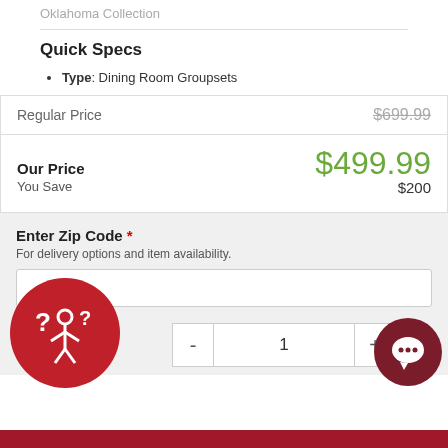Oklahoma Collection
Quick Specs
Type: Dining Room Groupsets
| Label | Price |
| --- | --- |
| Regular Price | $699.99 |
| Our Price | $499.99 |
| You Save | $200 |
Enter Zip Code * For delivery options and item availability.
1